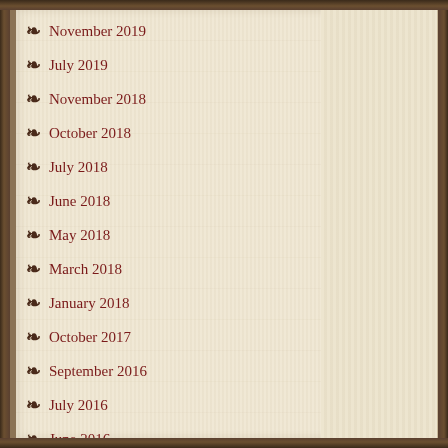November 2019
July 2019
November 2018
October 2018
July 2018
June 2018
May 2018
March 2018
January 2018
October 2017
September 2016
July 2016
June 2016
May 2016
March 2016
January 2016
November 2015